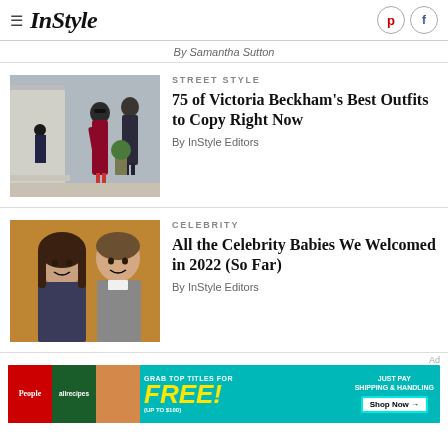InStyle
By Samantha Sutton
STREET STYLE
75 of Victoria Beckham's Best Outfits to Copy Right Now
By InStyle Editors
CELEBRITY
All the Celebrity Babies We Welcomed in 2022 (So Far)
By InStyle Editors
[Figure (illustration): Advertisement banner: Grab top titles for FREE (up to $100), Just Pay Shipping & Handling, Shop Now button. Shows People and allrecipes magazine covers.]